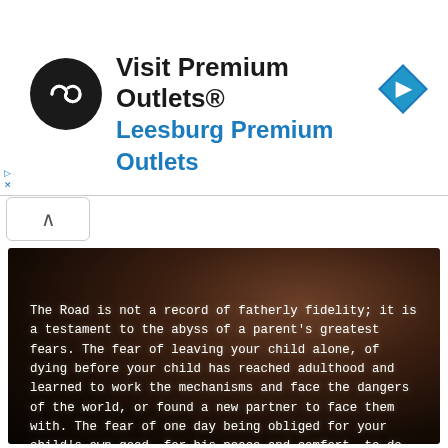[Figure (screenshot): Advertisement banner for Visit Premium Outlets® - Leesburg Premium Outlets with a black circular logo with infinity-like symbol, blue navigation diamond icon on right, and ad control buttons (play, close)]
[Figure (photo): Dark atmospheric background image with white text quote: 'The Road is not a record of fatherly fidelity; it is a testament to the abyss of a parent's greatest fears. The fear of leaving your child alone, of dying before your child has reached adulthood and learned to work the mechanisms and face the dangers of the world, or found a new partner to face them with. The fear of one day being obliged for your child's own good, for his peace and comfort, to do violence to him or even end his life. And, above all, the fear of knowing - as every parent fears - that you' followed by '- Author: Michael Chabon']